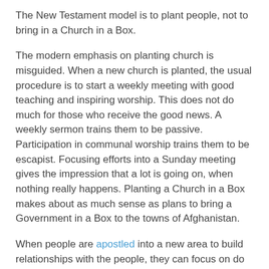The New Testament model is to plant people, not to bring in a Church in a Box.
The modern emphasis on planting church is misguided. When a new church is planted, the usual procedure is to start a weekly meeting with good teaching and inspiring worship. This does not do much for those who receive the good news. A weekly sermon trains them to be passive. Participation in communal worship trains them to be escapist. Focusing efforts into a Sunday meeting gives the impression that a lot is going on, when nothing really happens. Planting a Church in a Box makes about as much sense as plans to bring a Government in a Box to the towns of Afghanistan.
When people are apostled into a new area to build relationships with the people, they can focus on do the stuff that Jesus did. New Christians will be able to join in doing this stuff with them. If a team of people with balanced giftings are planted, a lot of different stuff will happen. Every new believer will find something they can get into. Action becomes the normal Christian life.